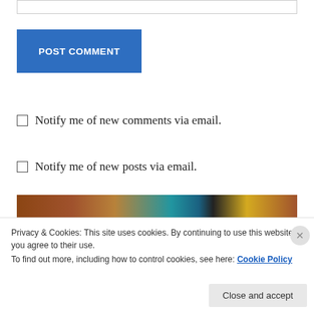[Figure (screenshot): White input box at top of page, partially visible]
POST COMMENT
Notify me of new comments via email.
Notify me of new posts via email.
[Figure (photo): Colorful paper/card arrangement on wooden table background with PREVIOUS label overlay]
Privacy & Cookies: This site uses cookies. By continuing to use this website, you agree to their use.
To find out more, including how to control cookies, see here: Cookie Policy
Close and accept